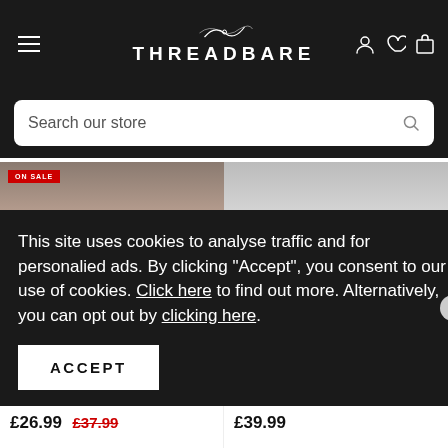THREADBARE
Search our store
[Figure (screenshot): Product images strip showing two women's clothing items partially visible]
This site uses cookies to analyse traffic and for personalied ads. By clicking "Accept", you consent to our use of cookies. Click here to find out more. Alternatively, you can opt out by clicking here.
ACCEPT
Women's Khaki PU Rubberised Mac
£26.99  £37.99
Women's Cream Faux Borg Shacket
£39.99